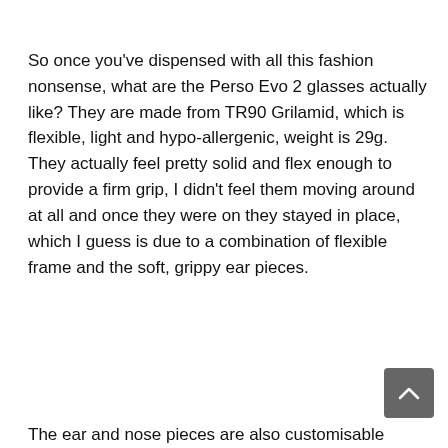So once you've dispensed with all this fashion nonsense, what are the Perso Evo 2 glasses actually like? They are made from TR90 Grilamid, which is flexible, light and hypo-allergenic, weight is 29g. They actually feel pretty solid and flex enough to provide a firm grip, I didn't feel them moving around at all and once they were on they stayed in place, which I guess is due to a combination of flexible frame and the soft, grippy ear pieces.
The ear and nose pieces are also customisable